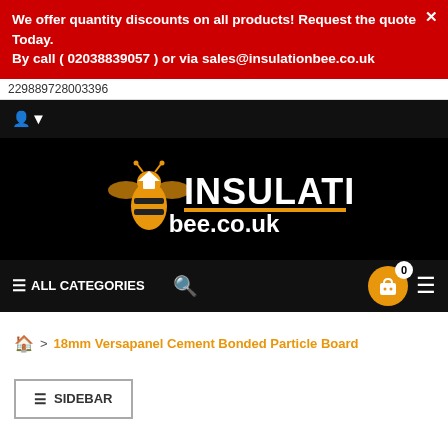We offer quantity discounts on all products! Request the quote Today.
By call ( 02038839057 ) or via sales@insulationbee.co.uk
229889728003396
[Figure (logo): InsulationBee.co.uk logo: golden bee with house icon and bold text INSULATION bee.co.uk on black background]
ALL CATEGORIES
18mm Versapanel Cement Bonded Particle Board
SIDEBAR